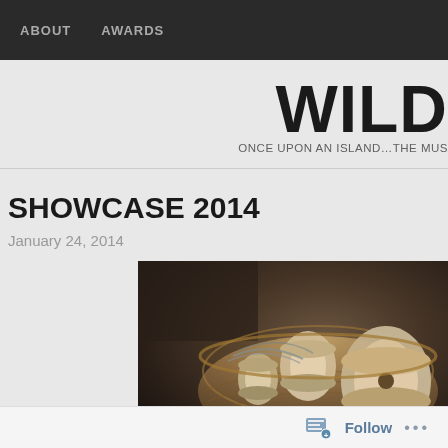ABOUT   AWARDS
WILD
ONCE UPON AN ISLAND…THE MUS
SHOWCASE 2014
January 24, 2014
[Figure (photo): A wicker basket containing multiple spools and rolls of thread/yarn in natural beige, cream, and brown tones, photographed in low light against a dark background.]
Follow   ...